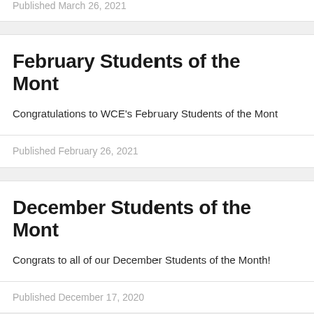Published March 26, 2021
February Students of the Month
Congratulations to WCE's February Students of the Month
Published February 26, 2021
December Students of the Month
Congrats to all of our December Students of the Month!
Published December 17, 2020